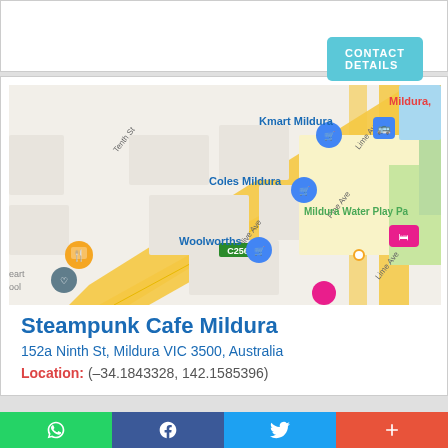CONTACT DETAILS
[Figure (map): Google Maps screenshot showing Mildura area with markers for Kmart Mildura, Coles Mildura, Woolworths, Mildura Water Play Park, and road labels including Olive Ave, Pine Ave, Lime Ave, Tenth St, and road C256.]
Steampunk Cafe Mildura
152a Ninth St, Mildura VIC 3500, Australia
Location: (–34.1843328, 142.1585396)
WhatsApp | Facebook | Twitter | +